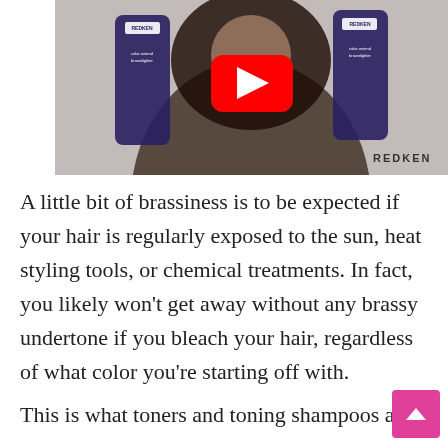[Figure (screenshot): YouTube video thumbnail showing a woman holding two Redken Color Extend Brownlighter bottles, one in each hand, with a red YouTube play button overlay in the center. The Redken logo appears in the lower right corner of the thumbnail.]
A little bit of brassiness is to be expected if your hair is regularly exposed to the sun, heat styling tools, or chemical treatments. In fact, you likely won't get away without any brassy undertone if you bleach your hair, regardless of what color you're starting off with.
This is what toners and toning shampoos are